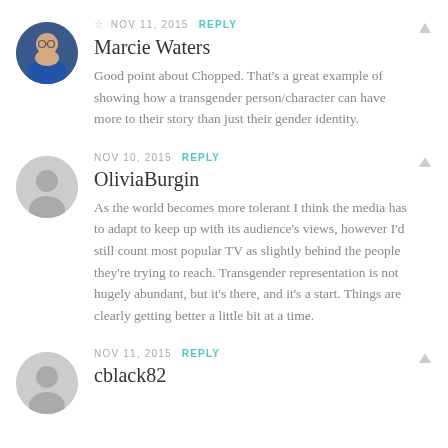NOV 11, 2015  REPLY
Marcie Waters
Good point about Chopped. That's a great example of showing how a transgender person/character can have more to their story than just their gender identity.
NOV 10, 2015  REPLY
OliviaBurgin
As the world becomes more tolerant I think the media has to adapt to keep up with its audience's views, however I'd still count most popular TV as slightly behind the people they're trying to reach. Transgender representation is not hugely abundant, but it's there, and it's a start. Things are clearly getting better a little bit at a time.
NOV 11, 2015  REPLY
cblack82